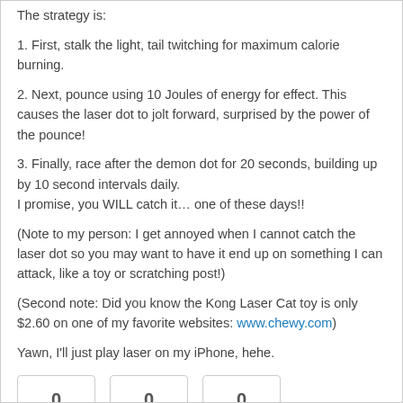The strategy is:
1. First, stalk the light, tail twitching for maximum calorie burning.
2. Next, pounce using 10 Joules of energy for effect. This causes the laser dot to jolt forward, surprised by the power of the pounce!
3. Finally, race after the demon dot for 20 seconds, building up by 10 second intervals daily.
I promise, you WILL catch it… one of these days!!
(Note to my person: I get annoyed when I cannot catch the laser dot so you may want to have it end up on something I can attack, like a toy or scratching post!)
(Second note: Did you know the Kong Laser Cat toy is only $2.60 on one of my favorite websites: www.chewy.com)
Yawn, I'll just play laser on my iPhone, hehe.
0  0  0  Share  Tweet  Email